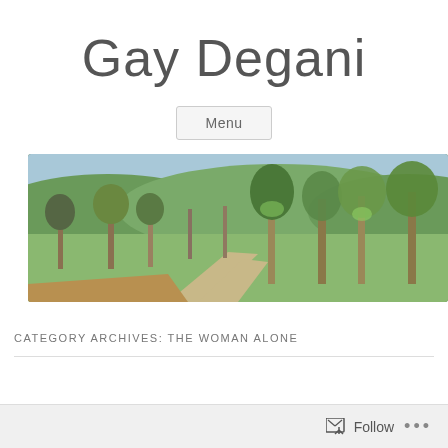Gay Degani
Menu
[Figure (photo): Wide panoramic photo of a rural dirt road winding through a green hillside landscape with bare and leafy trees under a light blue sky.]
CATEGORY ARCHIVES: THE WOMAN ALONE
Follow ...